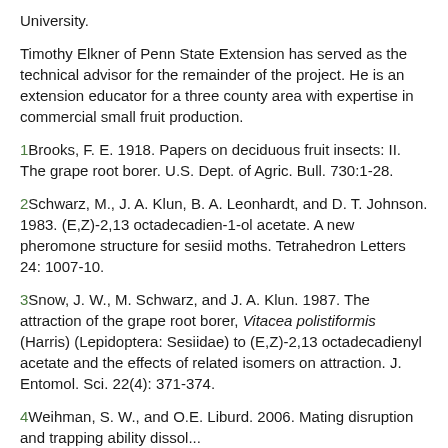University.
Timothy Elkner of Penn State Extension has served as the technical advisor for the remainder of the project. He is an extension educator for a three county area with expertise in commercial small fruit production.
1 Brooks, F. E. 1918. Papers on deciduous fruit insects: II. The grape root borer. U.S. Dept. of Agric. Bull. 730:1-28.
2 Schwarz, M., J. A. Klun, B. A. Leonhardt, and D. T. Johnson. 1983. (E,Z)-2,13 octadecadien-1-ol acetate. A new pheromone structure for sesiid moths. Tetrahedron Letters 24: 1007-10.
3 Snow, J. W., M. Schwarz, and J. A. Klun. 1987. The attraction of the grape root borer, Vitacea polistiformis (Harris) (Lepidoptera: Sesiidae) to (E,Z)-2,13 octadecadienyl acetate and the effects of related isomers on attraction. J. Entomol. Sci. 22(4): 371-374.
4 Weihman, S. W., and O.E. Liburd. 2006. Mating disruption and trapping ability dissol...